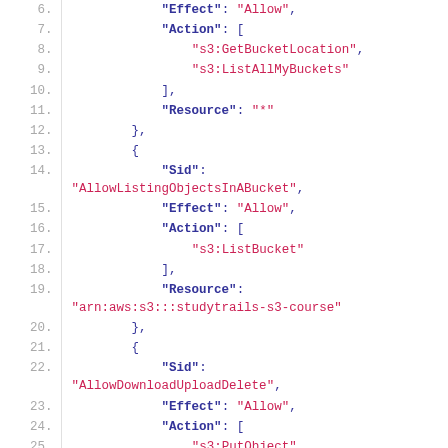Code block showing lines 6-29 of a JSON AWS IAM policy document with S3 permissions including AllowListingObjectsInABucket and AllowDownloadUploadDelete statements.